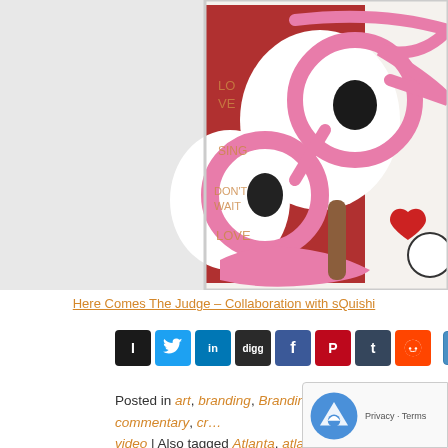[Figure (illustration): Colorful artwork showing cartoon-like characters with pink swirling glasses/decorations on a white and red background. Text on red background reads 'LO VE', 'SING', 'DON'T WAIT', 'LOVE'. A red heart shape is visible on the right side. Brown element visible in center. Style is bold illustrated doodle art.]
Here Comes The Judge – Collaboration with sQuishi
[Figure (infographic): Social sharing bar with icons: Instapaper (black I), Twitter (blue bird), LinkedIn (blue in), Digg (dark), Facebook (blue f), Pinterest (red P), Tumblr (dark t), Reddit (orange alien). Share/Save button with plus icon on right.]
Posted in art, branding, Branding Thoughts, commentary, cr... video | Also tagged Atlanta, atlanta art, doodle, interview, sq...